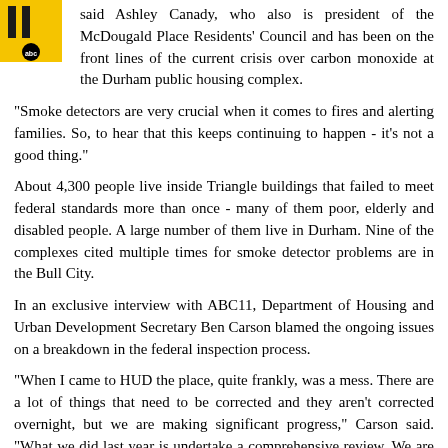[Figure (logo): ABC11 WTVD television station logo - yellow/gold '11' with ABC logo below it]
said Ashley Canady, who also is president of the McDougald Place Residents' Council and has been on the front lines of the current crisis over carbon monoxide at the Durham public housing complex.
"Smoke detectors are very crucial when it comes to fires and alerting families. So, to hear that this keeps continuing to happen - it's not a good thing."
About 4,300 people live inside Triangle buildings that failed to meet federal standards more than once - many of them poor, elderly and disabled people. A large number of them live in Durham. Nine of the complexes cited multiple times for smoke detector problems are in the Bull City.
In an exclusive interview with ABC11, Department of Housing and Urban Development Secretary Ben Carson blamed the ongoing issues on a breakdown in the federal inspection process.
"When I came to HUD the place, quite frankly, was a mess. There are a lot of things that need to be corrected and they aren't corrected overnight, but we are making significant progress," Carson said. "What we did last year is undertake a comprehensive review. We are changing the whole REAC system to account for the fact that over the past decade it